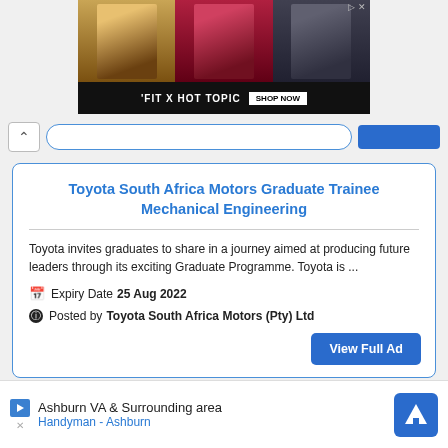[Figure (photo): Advertisement banner showing 'FIT X HOT TOPIC SHOP NOW' with three young people posing]
Toyota South Africa Motors Graduate Trainee Mechanical Engineering
Toyota invites graduates to share in a journey aimed at producing future leaders through its exciting Graduate Programme. Toyota is ...
Expiry Date 25 Aug 2022
Posted by Toyota South Africa Motors (Pty) Ltd
[Figure (screenshot): Bottom advertisement: Ashburn VA & Surrounding area, Handyman - Ashburn, with navigation logo]